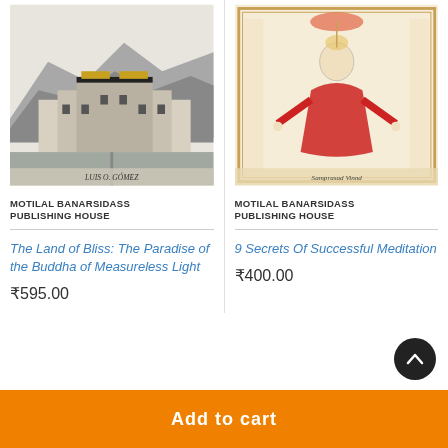[Figure (photo): Book cover of 'The Land of Bliss' showing a black and white photo of a Tibetan monastery (Potala Palace) on a hillside with text 'LUIS O. GOMEZ' at bottom]
MOTILAL BANARSIDASS PUBLISHING HOUSE
The Land of Bliss: The Paradise of the Buddha of Measureless Light
₹595.00
[Figure (photo): Book cover of '9 Secrets Of Successful Meditation' showing a traditional Indian painting/manuscript illustration of a figure with red garments, text 'Samprasad Vinod' at bottom]
MOTILAL BANARSIDASS PUBLISHING HOUSE
9 Secrets Of Successful Meditation
₹400.00
Add to cart